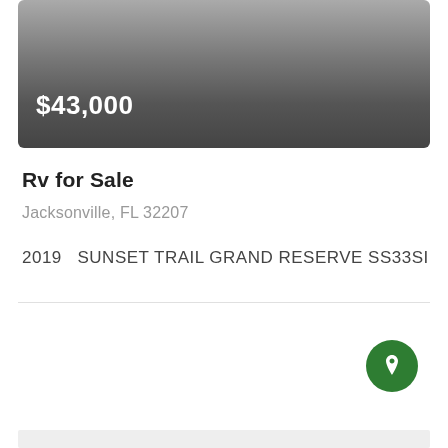[Figure (photo): Gray gradient banner image area representing an RV listing photo]
$43,000
Rv for Sale
Jacksonville, FL 32207
2019  SUNSET TRAIL GRAND RESERVE SS33SI
[Figure (other): Green circular location/map pin button icon]